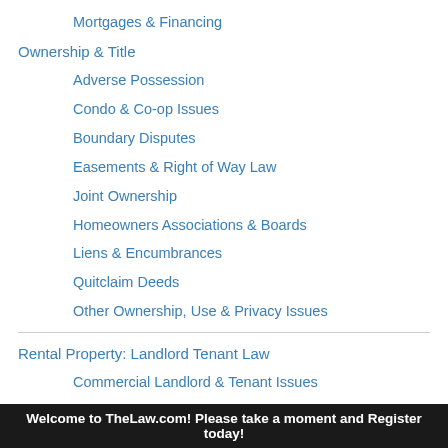Mortgages & Financing
Ownership & Title
Adverse Possession
Condo & Co-op Issues
Boundary Disputes
Easements & Right of Way Law
Joint Ownership
Homeowners Associations & Boards
Liens & Encumbrances
Quitclaim Deeds
Other Ownership, Use & Privacy Issues
Rental Property: Landlord Tenant Law
Commercial Landlord & Tenant Issues
Eviction, Recovery of Premises
Welcome to TheLaw.com! Please take a moment and Register today!